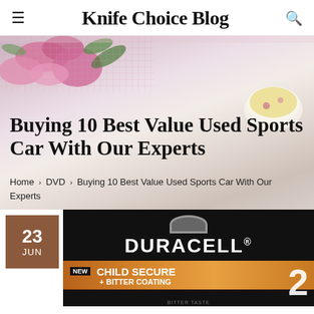Knife Choice Blog
[Figure (photo): Hero image with pink flowers and a cup of floral tea on a light background, overlaid with article title and breadcrumb navigation]
Buying 10 Best Value Used Sports Car With Our Experts
Home > DVD > Buying 10 Best Value Used Sports Car With Our Experts
[Figure (photo): Duracell battery product packaging showing NEW CHILD SECURE + BITTER COATING label on a black and copper background with a date badge showing 23 JUN]